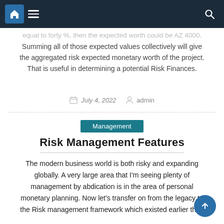Navigation bar with home icon, menu icon, and search icon
equal to forty %, then the expected worth could be AZ 4000. Summing all of those expected values collectively will give the aggregated risk expected monetary worth of the project. That is useful in determining a potential Risk Finances.
July 4, 2022   admin
Management
Risk Management Features
The modern business world is both risky and expanding globally. A very large area that I'm seeing plenty of management by abdication is in the area of personal monetary planning. Now let's transfer on from the legacy to the Risk management framework which existed earlier than